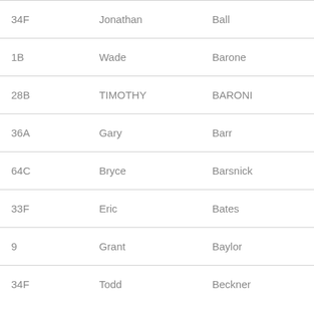| 34F | Jonathan | Ball |
| 1B | Wade | Barone |
| 28B | TIMOTHY | BARONI |
| 36A | Gary | Barr |
| 64C | Bryce | Barsnick |
| 33F | Eric | Bates |
| 9 | Grant | Baylor |
| 34F | Todd | Beckner |